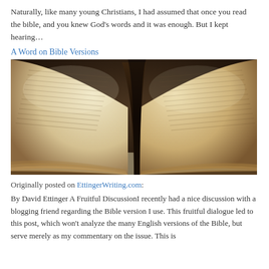Naturally, like many young Christians, I had assumed that once you read the bible, and you knew God's words and it was enough. But I kept hearing…
A Word on Bible Versions
[Figure (photo): Close-up photograph of an open Bible with aged, yellowed pages, viewed from a low angle with a dark background. The pages are splayed open and the book spine curves at the bottom.]
Originally posted on EttingerWriting.com:
By David Ettinger A Fruitful DiscussionI recently had a nice discussion with a blogging friend regarding the Bible version I use. This fruitful dialogue led to this post, which won't analyze the many English versions of the Bible, but serve merely as my commentary on the issue. This is